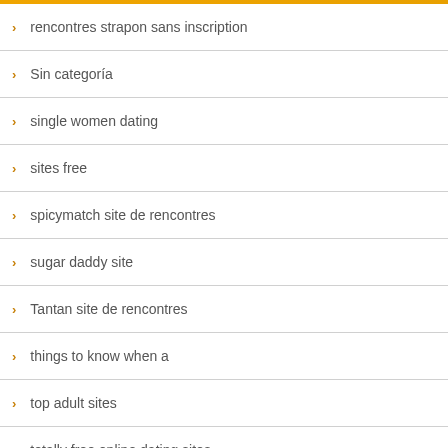rencontres strapon sans inscription
Sin categoría
single women dating
sites free
spicymatch site de rencontres
sugar daddy site
Tantan site de rencontres
things to know when a
top adult sites
totally free online dating sites
Uncategorized
whatsyourprice fr review
wives